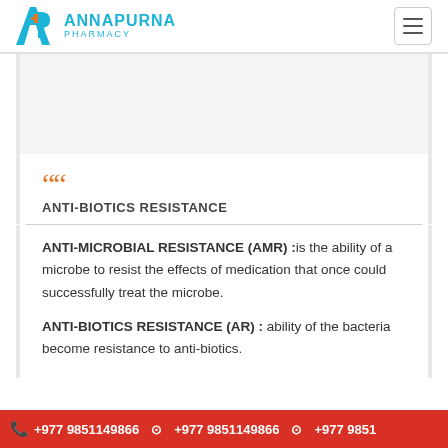Annapurna Pharmacy
ANTI-BIOTICS RESISTANCE
ANTI-MICROBIAL RESISTANCE (AMR) :is the ability of a microbe to resist the effects of medication that once could successfully treat the microbe.
ANTI-BIOTICS RESISTANCE (AR) : ability of the bacteria become resistance to anti-biotics.
+977 9851149866  +977 9851149866  +977 9851...